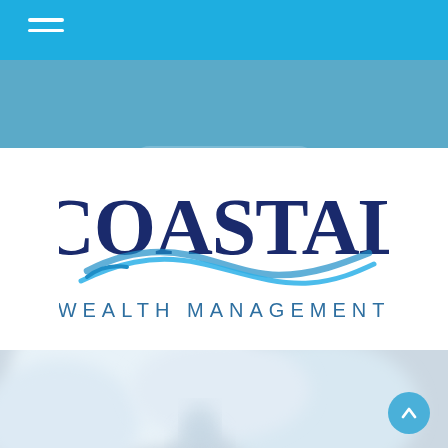Client Login
[Figure (logo): Coastal Wealth Management logo with dark blue serif COASTAL text, blue wave swoosh graphic underneath, and WEALTH MANAGEMENT in spaced blue capitals below]
[Figure (photo): Blurred background photo of a person, light and airy with soft blue-gray tones]